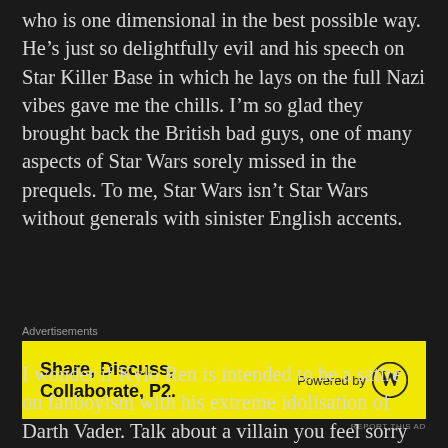who is one dimensional in the best possible way. He's just so delightfully evil and his speech on Star Killer Base in which he lays on the full Nazi vibes gave me the chills. I'm so glad they brought back the British bad guys, one of many aspects of Star Wars sorely missed in the prequels. To me, Star Wars isn't Star Wars without generals with sinister English accents.
[Figure (other): Advertisement banner: yellow background with bold text 'Share, Discuss, Collaborate, P2.' on the left and 'Powered by [WordPress logo]' on the right. Above the banner is the label 'Advertisements' and below is 'REPORT THIS AD'.]
I wonder if Kylo Ren is intended to be a satire on fanboyism with his extreme idolisation of Darth Vader. Talk about a villain you feel sorry